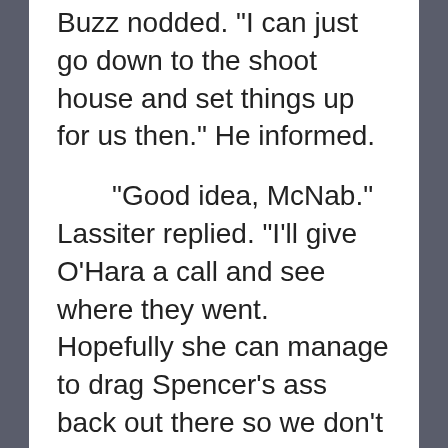Buzz nodded. "I can just go down to the shoot house and set things up for us then." He informed.
“Good idea, McNab.” Lassiter replied. “I’ll give O’Hara a call and see where they went. Hopefully she can manage to drag Spencer’s ass back out there so we don’t waste time standing around waiting for them.”
McNabb ended the call with a big smile on his face. He hadn’t missed his chance after all! He had been looking forward to this training